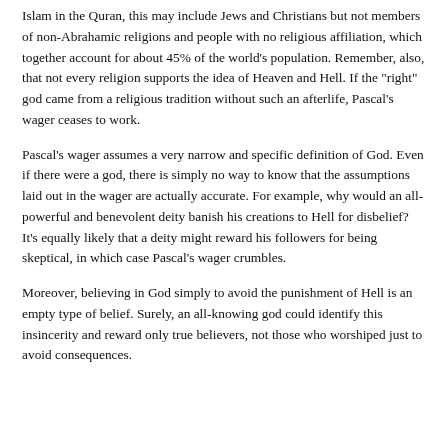Islam in the Quran, this may include Jews and Christians but not members of non-Abrahamic religions and people with no religious affiliation, which together account for about 45% of the world's population. Remember, also, that not every religion supports the idea of Heaven and Hell. If the "right" god came from a religious tradition without such an afterlife, Pascal's wager ceases to work.
Pascal's wager assumes a very narrow and specific definition of God. Even if there were a god, there is simply no way to know that the assumptions laid out in the wager are actually accurate. For example, why would an all-powerful and benevolent deity banish his creations to Hell for disbelief? It's equally likely that a deity might reward his followers for being skeptical, in which case Pascal's wager crumbles.
Moreover, believing in God simply to avoid the punishment of Hell is an empty type of belief. Surely, an all-knowing god could identify this insincerity and reward only true believers, not those who worshiped just to avoid consequences.